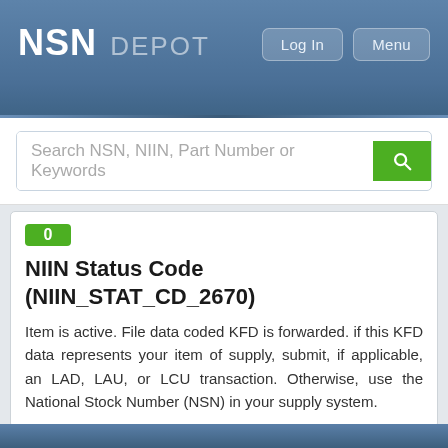NSN DEPOT
Search NSN, NIIN, Part Number or Keywords
0
NIIN Status Code (NIIN_STAT_CD_2670)
Item is active. File data coded KFD is forwarded. if this KFD data represents your item of supply, submit, if applicable, an LAD, LAU, or LCU transaction. Otherwise, use the National Stock Number (NSN) in your supply system.
3
Replaced / Replacement Item